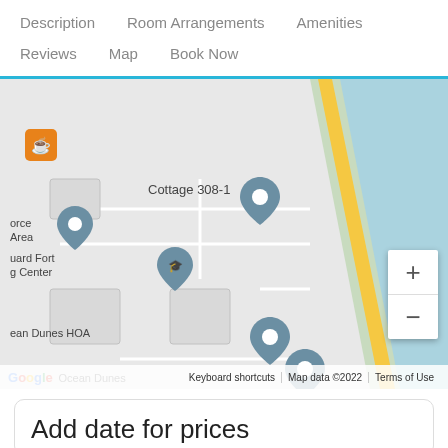Description   Room Arrangements   Amenities
Reviews   Map   Book Now
[Figure (map): Google Maps view showing Fort Fisher Blvd S coastal road with map pins for Cottage 308-1, Ocean Dunes HOA, Ocean Dunes, and other nearby locations. Blue water area to the right, road running diagonally.]
Add date for prices